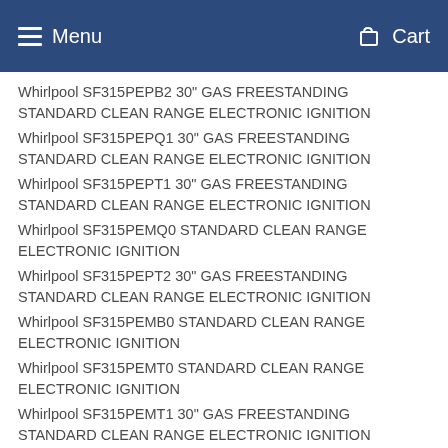Menu  Cart
Whirlpool SF315PEPB2 30" GAS FREESTANDING STANDARD CLEAN RANGE ELECTRONIC IGNITION
Whirlpool SF315PEPQ1 30" GAS FREESTANDING STANDARD CLEAN RANGE ELECTRONIC IGNITION
Whirlpool SF315PEPT1 30" GAS FREESTANDING STANDARD CLEAN RANGE ELECTRONIC IGNITION
Whirlpool SF315PEMQ0 STANDARD CLEAN RANGE ELECTRONIC IGNITION
Whirlpool SF315PEPT2 30" GAS FREESTANDING STANDARD CLEAN RANGE ELECTRONIC IGNITION
Whirlpool SF315PEMB0 STANDARD CLEAN RANGE ELECTRONIC IGNITION
Whirlpool SF315PEMT0 STANDARD CLEAN RANGE ELECTRONIC IGNITION
Whirlpool SF315PEMT1 30" GAS FREESTANDING STANDARD CLEAN RANGE ELECTRONIC IGNITION
Whirlpool SF315PEMW0 STANDARD CLEAN RANGE